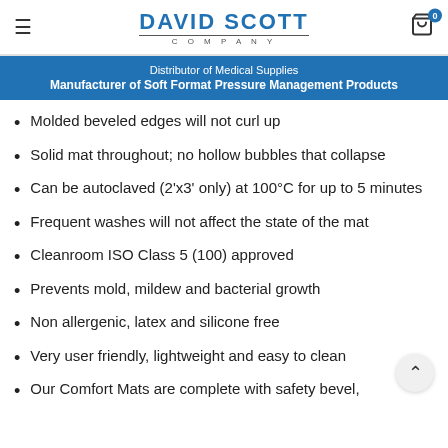DAVID SCOTT COMPANY
Distributor of Medical Supplies
Manufacturer of Soft Format Pressure Management Products
Molded beveled edges will not curl up
Solid mat throughout; no hollow bubbles that collapse
Can be autoclaved (2'x3' only) at 100°C for up to 5 minutes
Frequent washes will not affect the state of the mat
Cleanroom ISO Class 5 (100) approved
Prevents mold, mildew and bacterial growth
Non allergenic, latex and silicone free
Very user friendly, lightweight and easy to clean
Our Comfort Mats are complete with safety bevel,